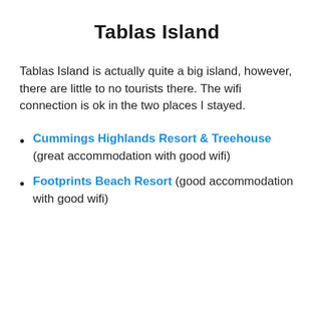Tablas Island
Tablas Island is actually quite a big island, however, there are little to no tourists there. The wifi connection is ok in the two places I stayed.
Cummings Highlands Resort & Treehouse (great accommodation with good wifi)
Footprints Beach Resort (good accommodation with good wifi)